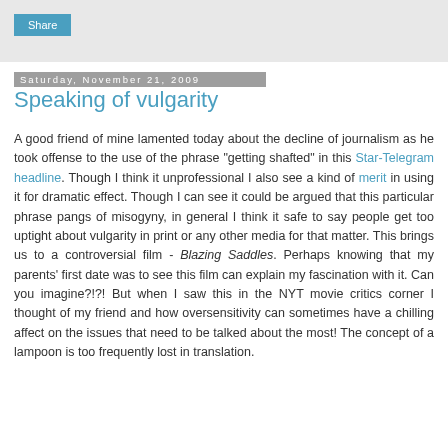[Figure (other): Share button UI element in grey top bar]
Saturday, November 21, 2009
Speaking of vulgarity
A good friend of mine lamented today about the decline of journalism as he took offense to the use of the phrase "getting shafted" in this Star-Telegram headline. Though I think it unprofessional I also see a kind of merit in using it for dramatic effect. Though I can see it could be argued that this particular phrase pangs of misogyny, in general I think it safe to say people get too uptight about vulgarity in print or any other media for that matter. This brings us to a controversial film - Blazing Saddles. Perhaps knowing that my parents' first date was to see this film can explain my fascination with it. Can you imagine?!?! But when I saw this in the NYT movie critics corner I thought of my friend and how oversensitivity can sometimes have a chilling affect on the issues that need to be talked about the most! The concept of a lampoon is too frequently lost in translation.